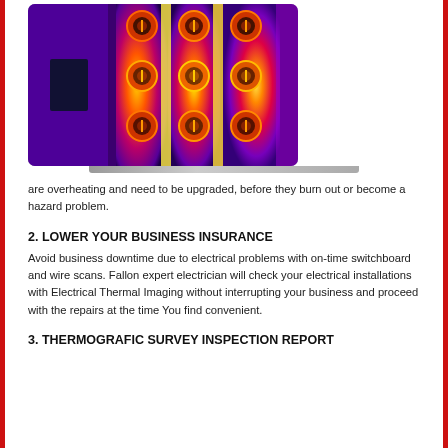[Figure (photo): Thermal imaging photo of an electrical switchboard/circuit breakers showing overheating in orange, red, yellow and purple heat signatures]
are overheating and need to be upgraded, before they burn out or become a hazard problem.
2. LOWER YOUR BUSINESS INSURANCE
Avoid business downtime due to electrical problems with on-time switchboard and wire scans. Fallon expert electrician will check your electrical installations with Electrical Thermal Imaging without interrupting your business and proceed with the repairs at the time You find convenient.
3. THERMOGRAFIC SURVEY INSPECTION REPORT